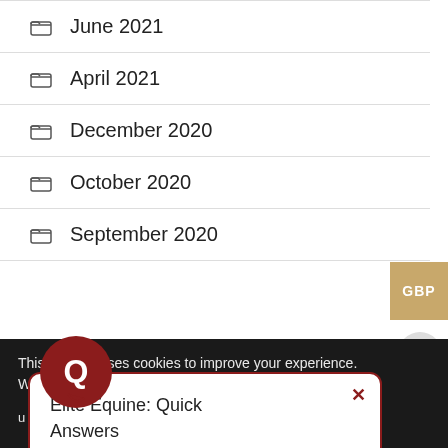June 2021
April 2021
December 2020
October 2020
September 2020
Elite Equine: Quick Answers
This website uses cookies to improve your experience. We'll assume you're ok with this, but you can opt out if you wish.
Cookie settings  ACCEPT